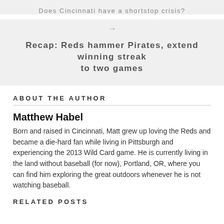Does Cincinnati have a shortstop crisis?
→
Recap: Reds hammer Pirates, extend winning streak to two games
ABOUT THE AUTHOR
Matthew Habel
Born and raised in Cincinnati, Matt grew up loving the Reds and became a die-hard fan while living in Pittsburgh and experiencing the 2013 Wild Card game. He is currently living in the land without baseball (for now), Portland, OR, where you can find him exploring the great outdoors whenever he is not watching baseball.
RELATED POSTS